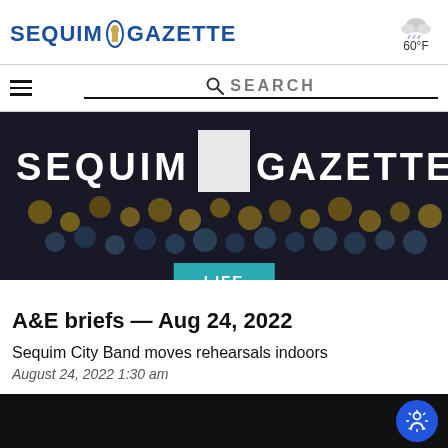SEQUIM GAZETTE | 60°F weather
[Figure (screenshot): Sequim Gazette website navigation bar with hamburger menu and search bar]
[Figure (photo): Dark banner photo showing crowd at event with SEQUIM GAZETTE text overlay and a teal LIFE badge]
A&E briefs — Aug 24, 2022
Sequim City Band moves rehearsals indoors
August 24, 2022 1:30 am